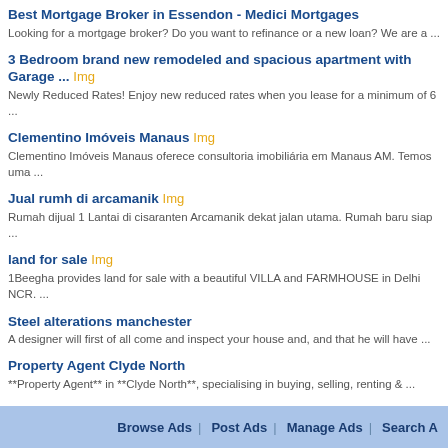Best Mortgage Broker in Essendon - Medici Mortgages
Looking for a mortgage broker? Do you want to refinance or a new loan? We are a ...
3 Bedroom brand new remodeled and spacious apartment with Garage ... Img
Newly Reduced Rates! Enjoy new reduced rates when you lease for a minimum of 6 ...
Clementino Imóveis Manaus Img
Clementino Imóveis Manaus oferece consultoria imobiliária em Manaus AM. Temos uma ...
Jual rumh di arcamanik Img
Rumah dijual 1 Lantai di cisaranten Arcamanik dekat jalan utama. Rumah baru siap ...
land for sale Img
1Beegha provides land for sale with a beautiful VILLA and FARMHOUSE in Delhi NCR. ...
Steel alterations manchester
A designer will first of all come and inspect your house and, and that he will have ...
Property Agent Clyde North
**Property Agent** in **Clyde North**, specialising in buying, selling, renting & ...
Multi Unit Development Melbourne
DSB is your end to end solution for property development services, from feasibility ...
Top Real Estate Agent In Sydney Img
"If you are in Sydney, it is a great opportunity for first home buyers and ...
Best Agent Narre Warren south
Khushboo Joshi is **Real Estate Agent** in Narre Warren and **Narre Warren south** ...
Custom Built homes Melbourne
Cramer is one of Melbourne's leading design practices specializing in unique and ...
Real Estate Agent Narre Warre
Browse Ads | Post Ads | Manage Ads | Search A